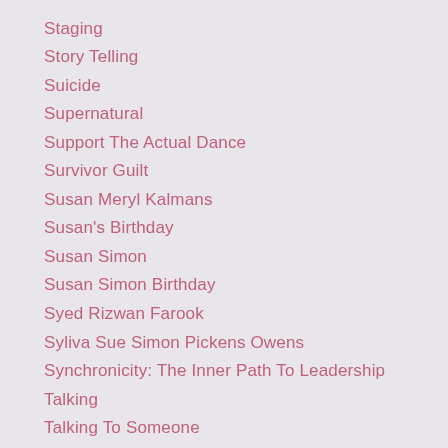Staging
Story Telling
Suicide
Supernatural
Support The Actual Dance
Survivor Guilt
Susan Meryl Kalmans
Susan's Birthday
Susan Simon
Susan Simon Birthday
Syed Rizwan Farook
Syliva Sue Simon Pickens Owens
Synchronicity: The Inner Path To Leadership
Talking
Talking To Someone
Talks With Greg:
Tall Oaks At Reston
Tango
Tanya Marie Luhrmann